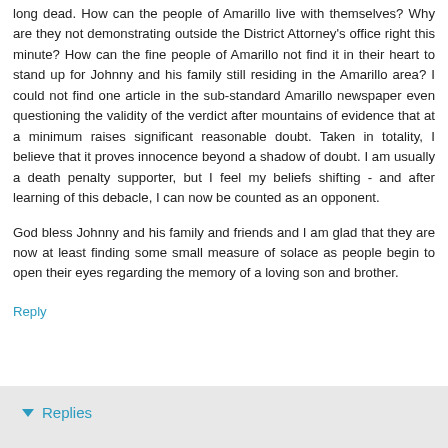long dead. How can the people of Amarillo live with themselves? Why are they not demonstrating outside the District Attorney's office right this minute? How can the fine people of Amarillo not find it in their heart to stand up for Johnny and his family still residing in the Amarillo area? I could not find one article in the sub-standard Amarillo newspaper even questioning the validity of the verdict after mountains of evidence that at a minimum raises significant reasonable doubt. Taken in totality, I believe that it proves innocence beyond a shadow of doubt. I am usually a death penalty supporter, but I feel my beliefs shifting - and after learning of this debacle, I can now be counted as an opponent.
God bless Johnny and his family and friends and I am glad that they are now at least finding some small measure of solace as people begin to open their eyes regarding the memory of a loving son and brother.
Reply
▼ Replies